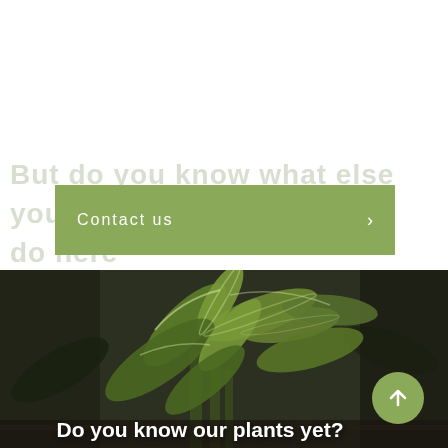But do you know what else you can do here
Contact us
[Figure (photo): Close-up photo of a green plant with broad leaves against a blurred dark background]
Do you know our plants yet?